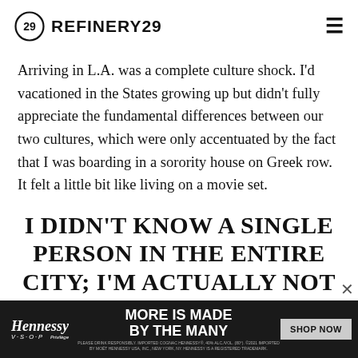REFINERY29
Arriving in L.A. was a complete culture shock. I'd vacationed in the States growing up but didn't fully appreciate the fundamental differences between our two cultures, which were only accentuated by the fact that I was boarding in a sorority house on Greek row. It felt a little bit like living on a movie set.
I DIDN'T KNOW A SINGLE PERSON IN THE ENTIRE CITY; I'M ACTUALLY NOT SURE I KNEW ANYONE IN THE ENTIRE
[Figure (other): Hennessy V.S.O.P advertisement banner: MORE IS MADE BY THE MANY, with SHOP NOW button. Fine print: PLEASE DRINK RESPONSIBLY. IMPORTED COGNAC HENNESSY®, 40% ALC./VOL. (80°). ©2021 IMPORTED BY MOËT HENNESSY USA, INC., NEW YORK, NY. HENNESSY IS A REGISTERED TRADEMARK.]